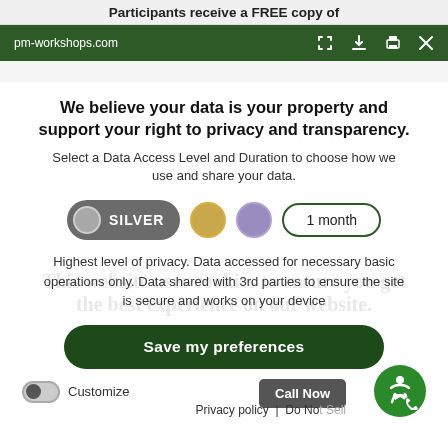Participants receive a FREE copy of
pm-workshops.com
We believe your data is your property and support your right to privacy and transparency.
Select a Data Access Level and Duration to choose how we use and share your data.
[Figure (screenshot): Data access level selector with SILVER pill button selected, gold circle, purple circle, and 1 month pill button]
Highest level of privacy. Data accessed for necessary basic operations only. Data shared with 3rd parties to ensure the site is secure and works on your device
Save my preferences
Customize
Privacy policy | Do Not Sell